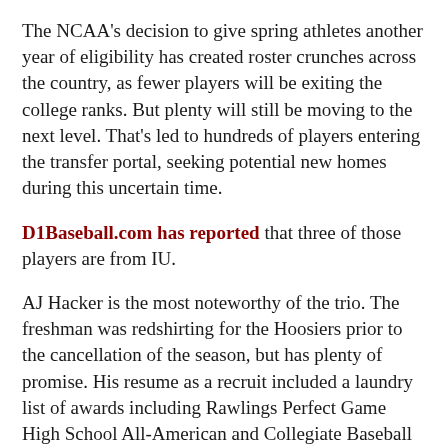The NCAA's decision to give spring athletes another year of eligibility has created roster crunches across the country, as fewer players will be exiting the college ranks. But plenty will still be moving to the next level. That's led to hundreds of players entering the transfer portal, seeking potential new homes during this uncertain time.
D1Baseball.com has reported that three of those players are from IU.
AJ Hacker is the most noteworthy of the trio. The freshman was redshirting for the Hoosiers prior to the cancellation of the season, but has plenty of promise. His resume as a recruit included a laundry list of awards including Rawlings Perfect Game High School All-American and Collegiate Baseball Newspaper High